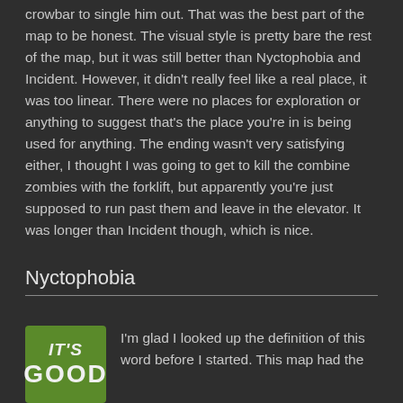crowbar to single him out. That was the best part of the map to be honest. The visual style is pretty bare the rest of the map, but it was still better than Nyctophobia and Incident. However, it didn't really feel like a real place, it was too linear. There were no places for exploration or anything to suggest that's the place you're in is being used for anything. The ending wasn't very satisfying either, I thought I was going to get to kill the combine zombies with the forklift, but apparently you're just supposed to run past them and leave in the elevator. It was longer than Incident though, which is nice.
Nyctophobia
[Figure (illustration): Green badge/label with text IT'S GOOD in bold italic white letters]
I'm glad I looked up the definition of this word before I started. This map had the